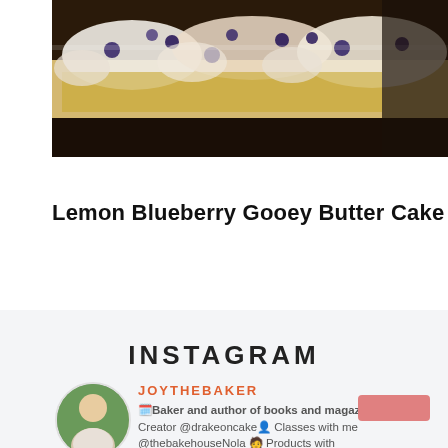[Figure (photo): Close-up photo of lemon blueberry gooey butter cake slices with cream and blueberries on a dark surface]
Lemon Blueberry Gooey Butter Cake
INSTAGRAM
JOYTHEBAKER
🗓️Baker and author of books and magazines 🎂 Creator @drakeoncake👤 Classes with me @thebakehouseNola 🧑 Products with @williamssonoma